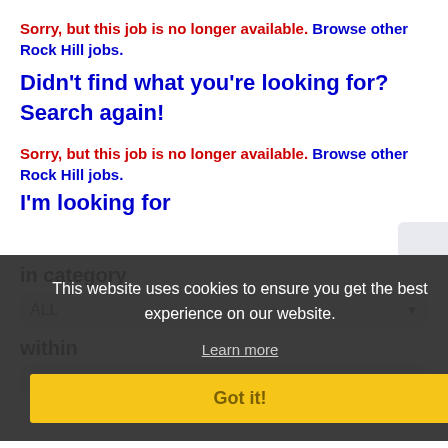Sorry, but this job is no longer available. Browse other Rock Hill jobs.
Didn't find what you're looking for? Search again!
Sorry, but this job is no longer available. Browse other Rock Hill jobs.
I'm looking for
in category
ALL
within
100 Miles of Rock Hill
This website uses cookies to ensure you get the best experience on our website.
Learn more
Got it!